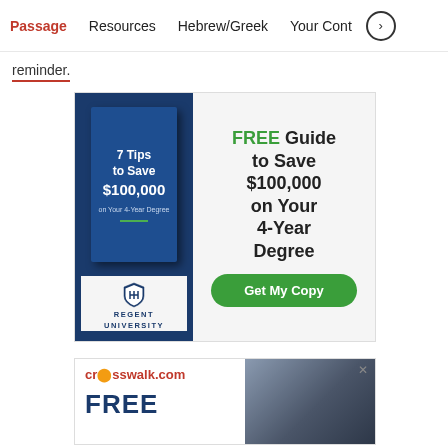Passage | Resources | Hebrew/Greek | Your Cont >
reminder.
[Figure (infographic): Advertisement for Regent University: '7 Tips to Save $100,000 on Your 4-Year Degree' book image on left with dark blue background, right side reads 'FREE Guide to Save $100,000 on Your 4-Year Degree' with a green 'Get My Copy' button. Regent University logo at bottom left.]
[Figure (infographic): Crosswalk.com advertisement banner with logo and 'FREE' text visible, with a dark Bible image on the right side. Close X button in top right corner.]